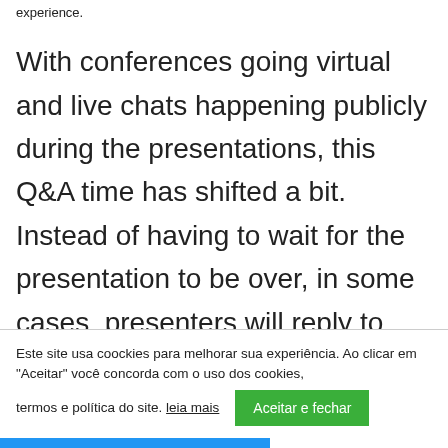experience.
With conferences going virtual and live chats happening publicly during the presentations, this Q&A time has shifted a bit. Instead of having to wait for the presentation to be over, in some cases, presenters will reply to questions from the live chat as they're speaking. Some panels are pre-recorded,
Este site usa coockies para melhorar sua experiência. Ao clicar em "Aceitar" você concorda com o uso dos cookies, termos e política do site. leia mais
Aceitar e fechar